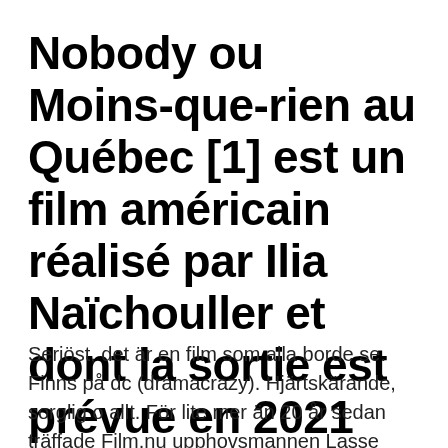Nobody ou Moins-que-rien au Québec [1] est un film américain réalisé par Ilia Naïchouller et dont la sortie est prévue en 2021
Seriöst, det är en film som alla borde se. Finns på dc (dramacrazy). Hjärtskärande, sorglig o allt. För lite mer än 20 år sedan träffade Film.nu upphovsmannen Lasse Åberg